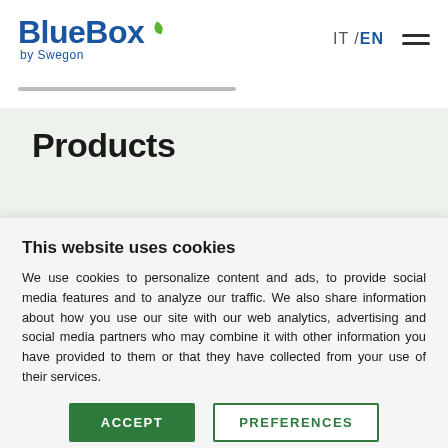[Figure (logo): BlueBox by Swegon logo — bold blue text 'BlueBox' with a green leaf icon, subtitle 'by Swegon' in blue below]
IT / EN
Products
Product Selector
This website uses cookies
We use cookies to personalize content and ads, to provide social media features and to analyze our traffic. We also share information about how you use our site with our web analytics, advertising and social media partners who may combine it with other information you have provided to them or that they have collected from your use of their services.
ACCEPT
PREFERENCES